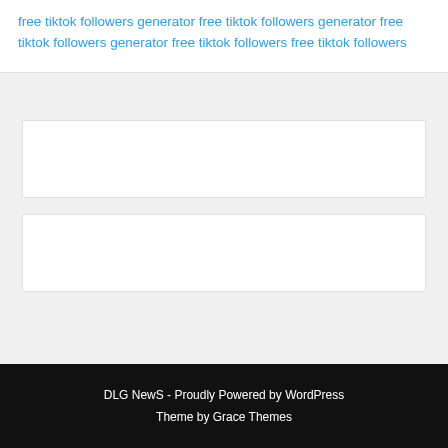free tiktok followers generator free tiktok followers generator free tiktok followers generator free tiktok followers free tiktok followers
[Figure (other): Empty white card/box 1]
[Figure (other): Empty white card/box 2]
DLG NewS - Proudly Powered by WordPress Theme by Grace Themes